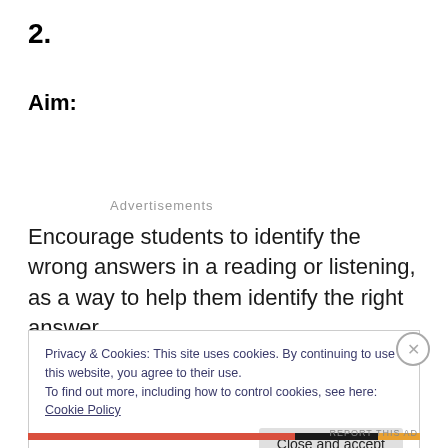2.
Aim:
Advertisements
Encourage students to identify the wrong answers in a reading or listening, as a way to help them identify the right answer.
Privacy & Cookies: This site uses cookies. By continuing to use this website, you agree to their use.
To find out more, including how to control cookies, see here: Cookie Policy
Close and accept